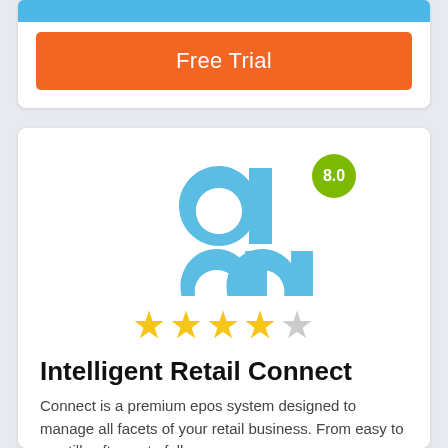[Figure (other): Blue bar at top of card]
Free Trial
[Figure (logo): Intelligent Retail Connect logo - blue stylized letters with green score badge showing 8.0]
★★★★☆ (4 out of 5 stars)
Intelligent Retail Connect
Connect is a premium epos system designed to manage all facets of your retail business. From easy to use till software to full